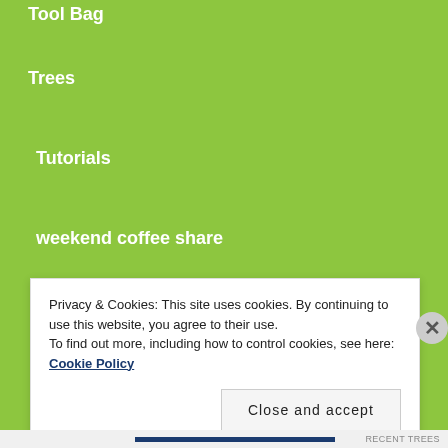Tool Bag
Trees
Tutorials
weekend coffee share
Works in progress
META
Privacy & Cookies: This site uses cookies. By continuing to use this website, you agree to their use.
To find out more, including how to control cookies, see here: Cookie Policy
Close and accept